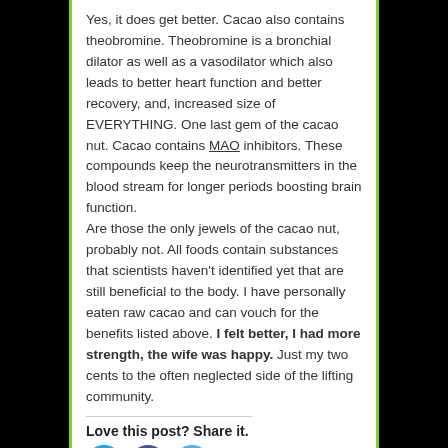Yes, it does get better. Cacao also contains theobromine. Theobromine is a bronchial dilator as well as a vasodilator which also leads to better heart function and better recovery, and, increased size of EVERYTHING. One last gem of the cacao nut. Cacao contains MAO inhibitors. These compounds keep the neurotransmitters in the blood stream for longer periods boosting brain function. Are those the only jewels of the cacao nut, probably not. All foods contain substances that scientists haven't identified yet that are still beneficial to the body. I have personally eaten raw cacao and can vouch for the benefits listed above. I felt better, I had more strength, the wife was happy. Just my two cents to the often neglected side of the lifting community.
Love this post? Share it.